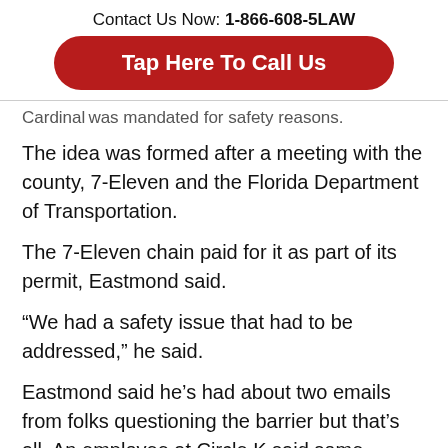Contact Us Now: 1-866-608-5LAW
[Figure (other): Red rounded button reading 'Tap Here To Call Us']
Cardinal was mandated for safety reasons.
The idea was formed after a meeting with the county, 7-Eleven and the Florida Department of Transportation.
The 7-Eleven chain paid for it as part of its permit, Eastmond said.
“We had a safety issue that had to be addressed,” he said.
Eastmond said he’s had about two emails from folks questioning the barrier but that’s all. An employee at Circle K said some customers signed a petition to get the barrier removed and that it was delivered to County Commissioner